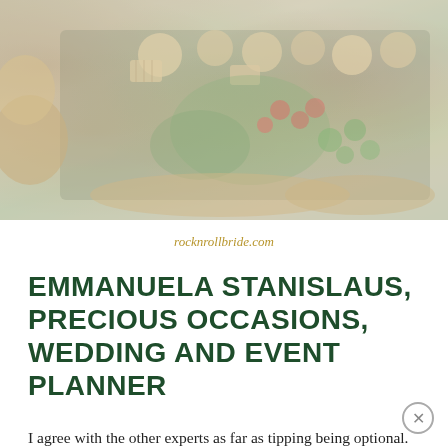[Figure (photo): A photograph of a catering/food spread showing assorted breads, vegetables, crackers, and appetizers arranged in trays, with a faded/muted color overlay.]
rocknrollbride.com
EMMANUELA STANISLAUS, PRECIOUS OCCASIONS, WEDDING AND EVENT PLANNER
I agree with the other experts as far as tipping being optional. Tipping is reserved for service that is above and beyond so do not feel pressured to provide the staff with a tip. According